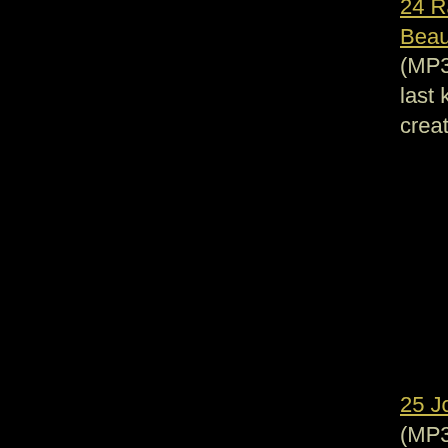24 Raymond Scott - Beautiful Little Butterfly (MP3) - Raymond Scott's last known composition, created on MIDI in 1986.
25 Joshua Brody - A Medley (MP3) - Joshua Raoul Brody, composer for film and theater, comedian, and so much more, likes old people, but doesn't like bullies.
26 Three Kids - Goobers (MP3) - These three kids are singing about eating goober peas,